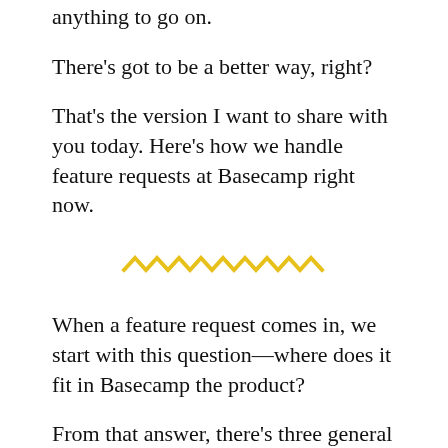anything to go on.
There's got to be a better way, right?
That's the version I want to share with you today. Here's how we handle feature requests at Basecamp right now.
[Figure (illustration): Yellow zigzag/wavy line divider ornament]
When a feature request comes in, we start with this question—where does it fit in Basecamp the product?
From that answer, there's three general paths